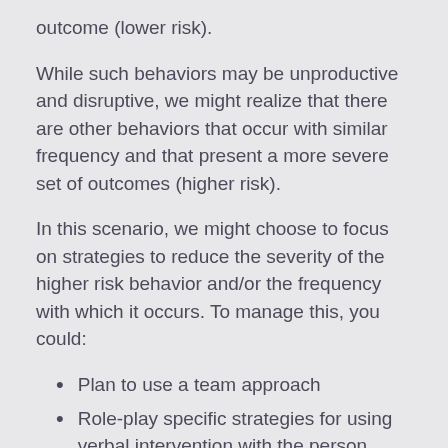outcome (lower risk).
While such behaviors may be unproductive and disruptive, we might realize that there are other behaviors that occur with similar frequency and that present a more severe set of outcomes (higher risk).
In this scenario, we might choose to focus on strategies to reduce the severity of the higher risk behavior and/or the frequency with which it occurs. To manage this, you could:
Plan to use a team approach
Role-play specific strategies for using verbal intervention with the person
Teach the person coping mechanisms